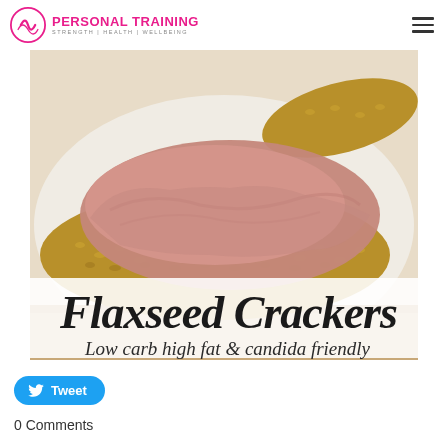PERSONAL TRAINING | STRENGTH | HEALTH | WELLBEING
[Figure (photo): Flaxseed crackers with pink pâté spread on top, sitting on a white plate. Text overlay reads 'Flaxseed Crackers' in cursive script and 'Low carb high fat & candida friendly' below it.]
Tweet
0 Comments